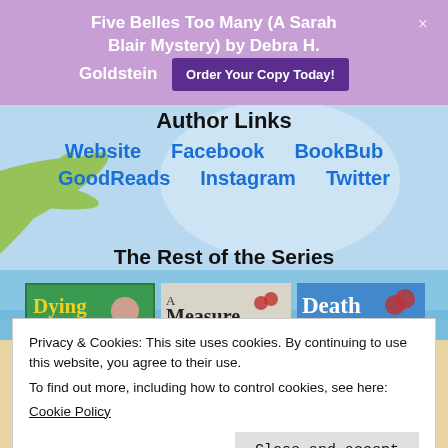Five Belles Too Many (A Sarah Blair Mystery) by Debra H. Goldstein
Order Your Copy Today!
Author Links
Website
Facebook
BookBub
GoodReads
Instagram
Twitter
The Rest of the Series
[Figure (illustration): Three book covers: Dying for a Taste, A Measure of Murder, Death al Fresco]
Privacy & Cookies: This site uses cookies. By continuing to use this website, you agree to their use.
To find out more, including how to control cookies, see here:
Cookie Policy
Close and accept
[Figure (illustration): Bottom book cover showing the word Murder]